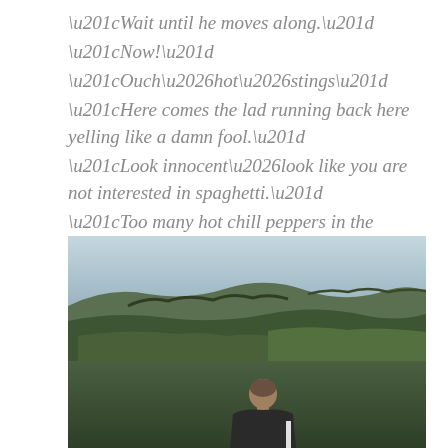“Wait until he moves along.” “Now!” “Ouch…hot…stings” “Here comes the lad running back here yelling like a damn fool.” “Look innocent…look like you are not interested in spaghetti.” “Too many hot chill peppers in the spaghetti.”
[Figure (photo): A person seen from behind looking out over a green rolling countryside landscape with hills and a pale overcast sky.]